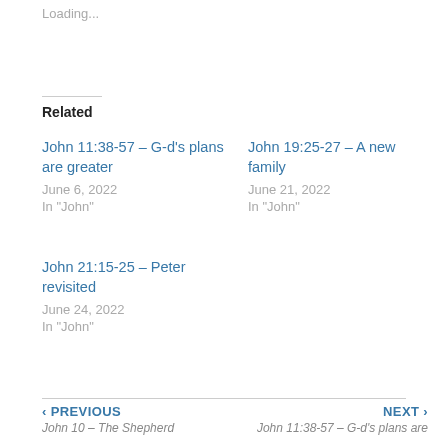Loading...
Related
John 11:38-57 – G-d's plans are greater
June 6, 2022
In "John"
John 19:25-27 – A new family
June 21, 2022
In "John"
John 21:15-25 – Peter revisited
June 24, 2022
In "John"
‹ PREVIOUS
John 10 – The Shepherd
NEXT ›
John 11:38-57 – G-d's plans are